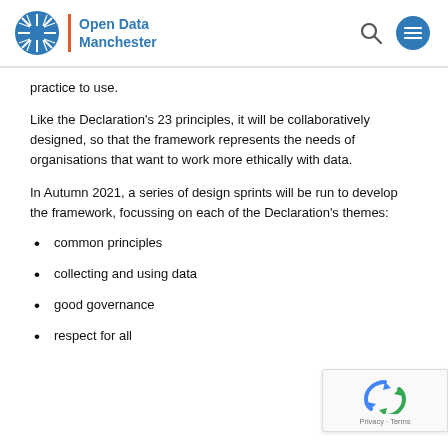Open Data Manchester
practice to use.
Like the Declaration's 23 principles, it will be collaboratively designed, so that the framework represents the needs of organisations that want to work more ethically with data.
In Autumn 2021, a series of design sprints will be run to develop the framework, focussing on each of the Declaration's themes:
common principles
collecting and using data
good governance
respect for all